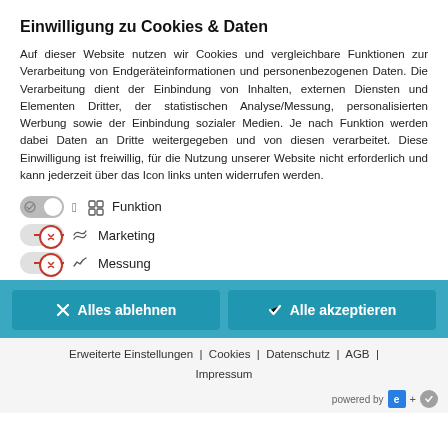Einwilligung zu Cookies & Daten
Auf dieser Website nutzen wir Cookies und vergleichbare Funktionen zur Verarbeitung von Endgeräteinformationen und personenbezogenen Daten. Die Verarbeitung dient der Einbindung von Inhalten, externen Diensten und Elementen Dritter, der statistischen Analyse/Messung, personalisierten Werbung sowie der Einbindung sozialer Medien. Je nach Funktion werden dabei Daten an Dritte weitergegeben und von diesen verarbeitet. Diese Einwilligung ist freiwillig, für die Nutzung unserer Website nicht erforderlich und kann jederzeit über das Icon links unten widerrufen werden.
Funktion
Marketing
Messung
✕ Alles ablehnen   ✓ Alle akzeptieren
Erweiterte Einstellungen | Cookies | Datenschutz | AGB | Impressum
powered by